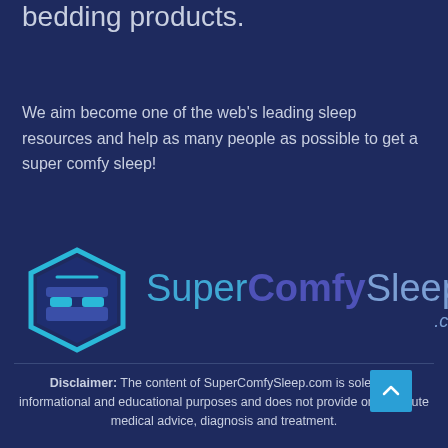bedding products.
We aim become one of the web's leading sleep resources and help as many people as possible to get a super comfy sleep!
[Figure (logo): SuperComfySleep.com logo with hexagonal bed icon and stylized text]
Disclaimer: The content of SuperComfySleep.com is solely for informational and educational purposes and does not provide or substitute medical advice, diagnosis and treatment.